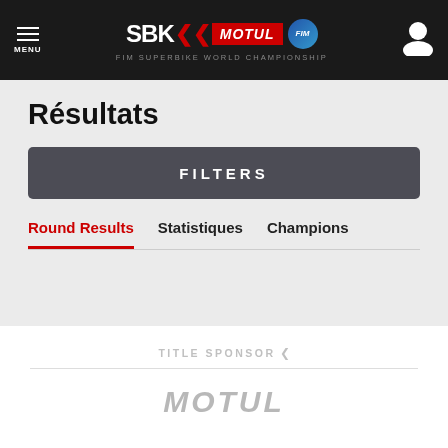SBK MOTUL FIM SUPERBIKE WORLD CHAMPIONSHIP
Résultats
FILTERS
Round Results
Statistiques
Champions
TITLE SPONSOR ‹
[Figure (logo): Motul sponsor logo in grey italic text]